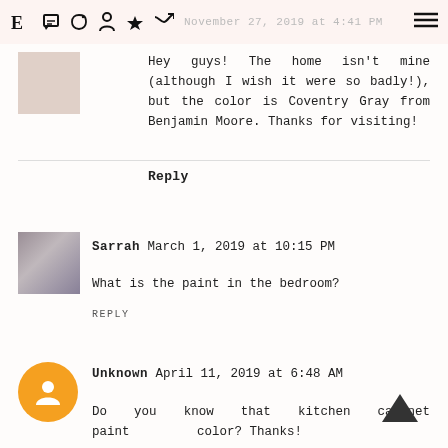November 27, 2019 at 4:41 PM
Hey guys! The home isn't mine (although I wish it were so badly!), but the color is Coventry Gray from Benjamin Moore. Thanks for visiting!
Reply
Sarrah March 1, 2019 at 10:15 PM
What is the paint in the bedroom?
REPLY
Unknown April 11, 2019 at 6:48 AM
Do you know that kitchen cabinet paint color? Thanks!